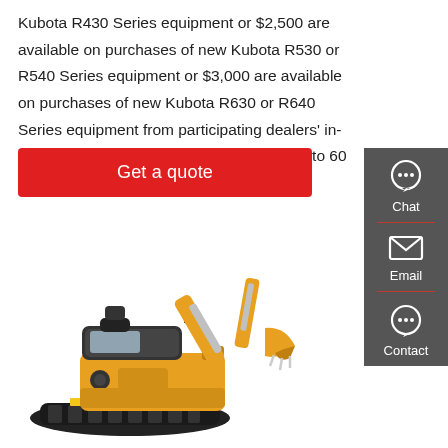Kubota R430 Series equipment or $2,500 are available on purchases of new Kubota R530 or R540 Series equipment or $3,000 are available on purchases of new Kubota R630 or R640 Series equipment from participating dealers' in-stock inventory. 0% A.P.R. financing for up to 60
Get a quote
[Figure (illustration): Sidebar with Chat, Email, Contact icons on dark grey background]
[Figure (photo): Yellow and black mini excavator with tracks and articulated arm with bucket]